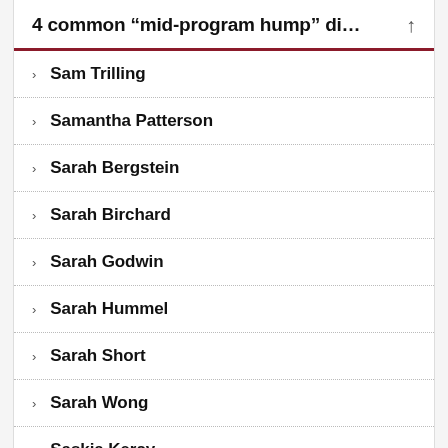4 common “mid-program hump” di...
Sam Trilling
Samantha Patterson
Sarah Bergstein
Sarah Birchard
Sarah Godwin
Sarah Hummel
Sarah Short
Sarah Wong
Saskia Kercy
Scotland